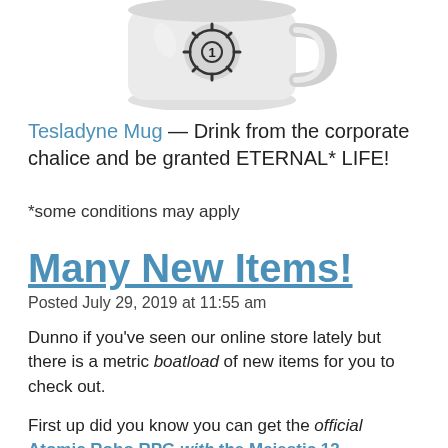[Figure (photo): A white ceramic mug with a gear/cog logo and text 'INDUSTRIES' on it, shown from the front with handle on the right side.]
Tesladyne Mug — Drink from the corporate chalice and be granted ETERNAL* LIFE!
*some conditions may apply
Many New Items!
Posted July 29, 2019 at 11:55 am
Dunno if you've seen our online store lately but there is a metric boatload of new items for you to check out.
First up did you know you can get the official Atomic Robo RPG with the Majestic 12 supplement at an absurdly deep discount price? Both of these books are out of print and supplies are limited. Get them before they're all gone!